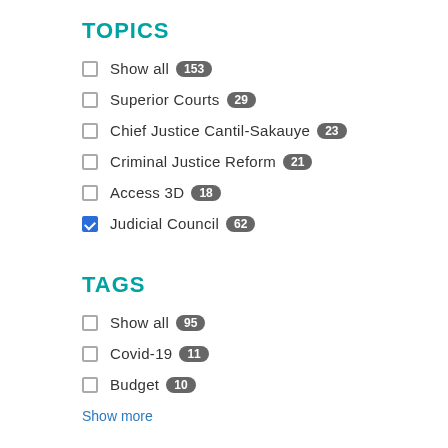TOPICS
Show all 153
Superior Courts 29
Chief Justice Cantil-Sakauye 23
Criminal Justice Reform 21
Access 3D 18
Judicial Council 62 (checked)
TAGS
Show all 95
Covid-19 11
Budget 10
Show more